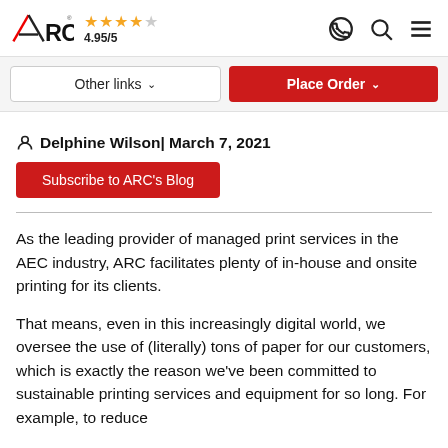ARC ★★★★☆ 4.95/5
Other links   Place Order
Delphine Wilson | March 7, 2021
Subscribe to ARC's Blog
As the leading provider of managed print services in the AEC industry, ARC facilitates plenty of in-house and onsite printing for its clients.
That means, even in this increasingly digital world, we oversee the use of (literally) tons of paper for our customers, which is exactly the reason we've been committed to sustainable printing services and equipment for so long. For example, to reduce